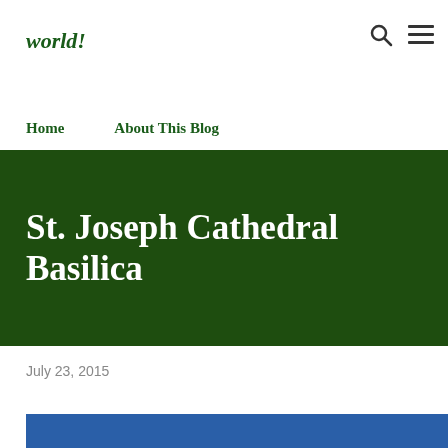world!
Home   About This Blog
St. Joseph Cathedral Basilica
July 23, 2015
[Figure (photo): Blue image strip at the bottom of the page, partially visible]